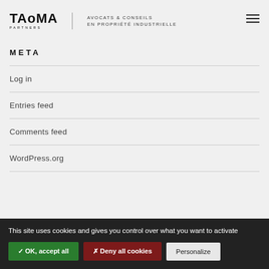TAoMA PARTNERS — AVOCATS & CONSEILS EN PROPRIÉTÉ INDUSTRIELLE
META
Log in
Entries feed
Comments feed
WordPress.org
This site uses cookies and gives you control over what you want to activate